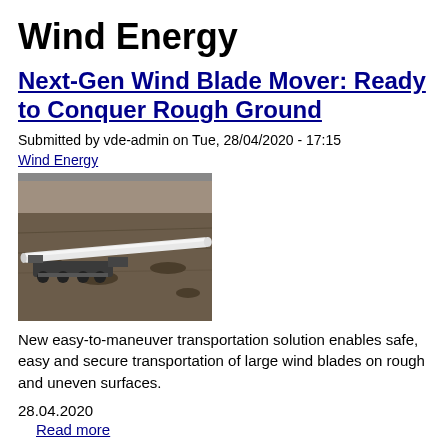Wind Energy
Next-Gen Wind Blade Mover: Ready to Conquer Rough Ground
Submitted by vde-admin on Tue, 28/04/2020 - 17:15
Wind Energy
[Figure (photo): Aerial or ground-level photo of a large wind turbine blade being transported on rough terrain, showing a white elongated blade on a wheeled transport vehicle on a gravelly surface]
New easy-to-maneuver transportation solution enables safe, easy and secure transportation of large wind blades on rough and uneven surfaces.
28.04.2020
Read more
Global reach of new Siemens Gamesa